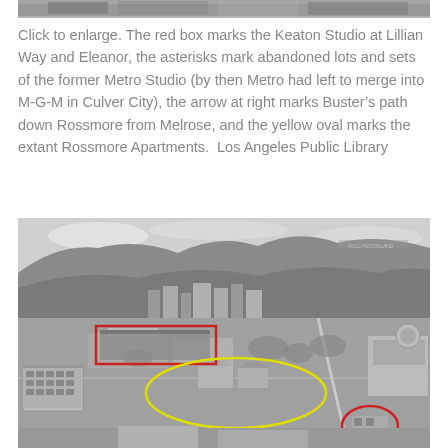[Figure (photo): Top portion of a black and white aerial photograph of a Los Angeles neighborhood, partially cropped at top of page.]
Click to enlarge. The red box marks the Keaton Studio at Lillian Way and Eleanor, the asterisks mark abandoned lots and sets of the former Metro Studio (by then Metro had left to merge into M-G-M in Culver City), the arrow at right marks Buster's path down Rossmore from Melrose, and the yellow oval marks the extant Rossmore Apartments.  Los Angeles Public Library
[Figure (photo): Black and white aerial photograph of Hollywood neighborhood with Hollywood Hills and sign in background. Markings overlay the photo: a red rectangle marks the Keaton Studio at Lillian Way and Eleanor, a yellow oval marks the Rossmore Apartments, and a red circle marks another location at bottom right.]